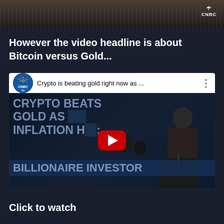[Figure (screenshot): Top portion of a CNBC video thumbnail showing a dark background with CNBC logo in top right corner]
However the video headline is about Bitcoin versus Gold...
[Figure (screenshot): YouTube-style embedded video player showing CNBC video titled 'Crypto is beating gold right now as ...' with thumbnail showing text 'CRYPTO BEATS GOLD AS INFLATION HEDGE: BILLIONAIRE INVESTOR' overlaid on image of a man speaking at a podium, with red YouTube play button in center]
Click to watch